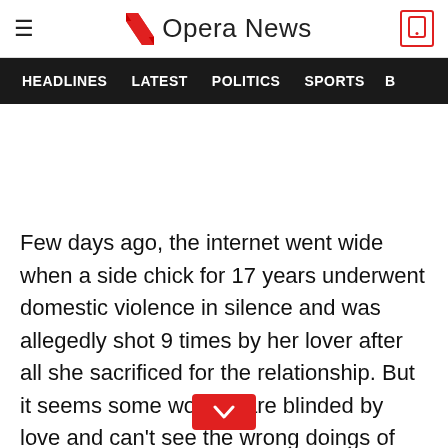Opera News
HEADLINES  LATEST  POLITICS  SPORTS  B
Few days ago, the internet went wide when a side chick for 17 years underwent domestic violence in silence and was allegedly shot 9 times by her lover after all she sacrificed for the relationship. But it seems some women are blinded by love and can't see the wrong doings of their .